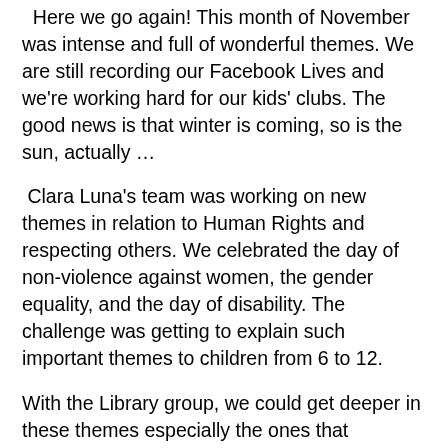Here we go again! This month of November was intense and full of wonderful themes. We are still recording our Facebook Lives and we're working hard for our kids' clubs. The good news is that winter is coming, so is the sun, actually …
Clara Luna's team was working on new themes in relation to Human Rights and respecting others. We celebrated the day of non-violence against women, the gender equality, and the day of disability. The challenge was getting to explain such important themes to children from 6 to 12.
With the Library group, we could get deeper in these themes especially the ones that concerned women's rights. It was incredible to have the group on Saturdays: we had debates, free talking, and activities to understand what exactly gender does mean and what questions it does bring. We also talked about harassment with them